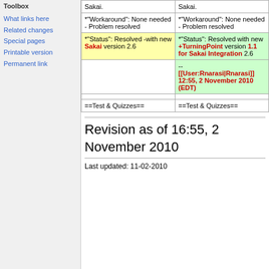Toolbox
What links here
Related changes
Special pages
Printable version
Permanent link
|  |  |
| --- | --- |
| Sakai. | Sakai. |
| *"Workaround": None needed - Problem resolved | *"Workaround": None needed - Problem resolved |
| *"Status": Resolved -with new Sakai version 2.6 | *"Status": Resolved with new +TurningPoint version 1.1 for Sakai Integration 2.6 |
|  | -- [[User:Rnarasi|Rnarasi]] 12:55, 2 November 2010 (EDT) |
|  |  |
| ==Test & Quizzes== | ==Test & Quizzes== |
Revision as of 16:55, 2 November 2010
Last updated: 11-02-2010